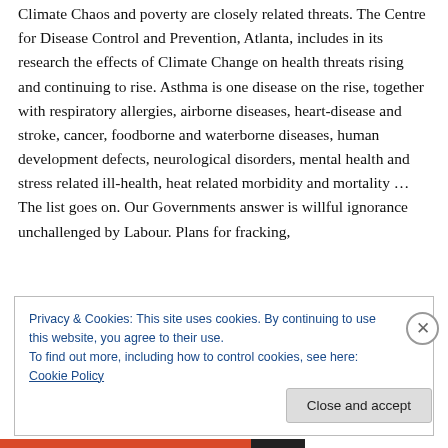Climate Chaos and poverty are closely related threats. The Centre for Disease Control and Prevention, Atlanta, includes in its research the effects of Climate Change on health threats rising and continuing to rise. Asthma is one disease on the rise, together with respiratory allergies, airborne diseases, heart-disease and stroke, cancer, foodborne and waterborne diseases, human development defects, neurological disorders, mental health and stress related ill-health, heat related morbidity and mortality … The list goes on. Our Governments answer is willful ignorance unchallenged by Labour. Plans for fracking,
Privacy & Cookies: This site uses cookies. By continuing to use this website, you agree to their use.
To find out more, including how to control cookies, see here: Cookie Policy
Close and accept